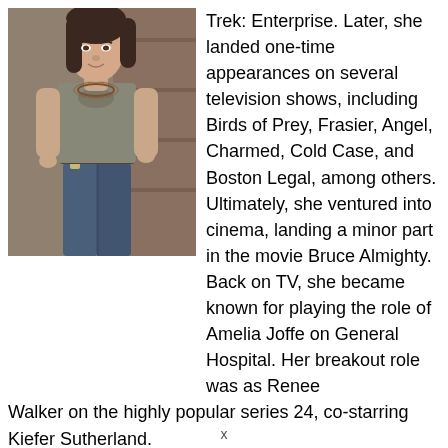[Figure (photo): Photo of a young woman with dark brown hair, wearing a gray sleeveless top and jeans, standing in front of a wooden background.]
Trek: Enterprise. Later, she landed one-time appearances on several television shows, including Birds of Prey, Frasier, Angel, Charmed, Cold Case, and Boston Legal, among others. Ultimately, she ventured into cinema, landing a minor part in the movie Bruce Almighty. Back on TV, she became known for playing the role of Amelia Joffe on General Hospital. Her breakout role was as Renee Walker on the highly popular series 24, co-starring Kiefer Sutherland.
x